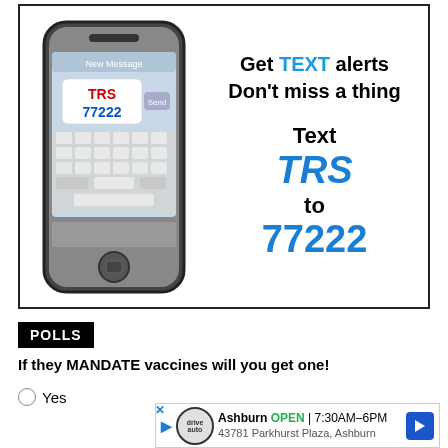[Figure (infographic): Advertisement showing a smartphone with 'TRS 77222' on screen, with text: 'Get TEXT alerts Don't miss a thing. Text TRS to 77222']
POLLS
If they MANDATE vaccines will you get one!
Yes
[Figure (infographic): Advertisement banner: Ashburn OPEN 7:30AM-6PM, 43781 Parkhurst Plaza, Ashburn]